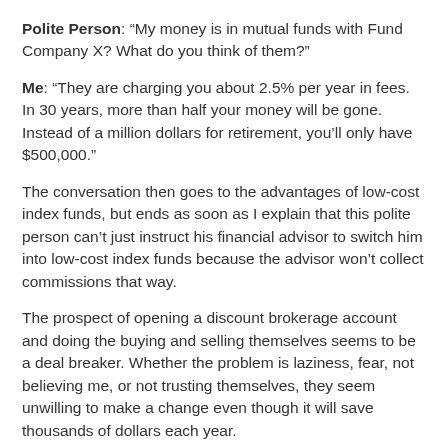Polite Person: “My money is in mutual funds with Fund Company X? What do you think of them?”
Me: “They are charging you about 2.5% per year in fees. In 30 years, more than half your money will be gone. Instead of a million dollars for retirement, you’ll only have $500,000.”
The conversation then goes to the advantages of low-cost index funds, but ends as soon as I explain that this polite person can’t just instruct his financial advisor to switch him into low-cost index funds because the advisor won’t collect commissions that way.
The prospect of opening a discount brokerage account and doing the buying and selling themselves seems to be a deal breaker. Whether the problem is laziness, fear, not believing me, or not trusting themselves, they seem unwilling to make a change even though it will save thousands of dollars each year.
I don’t give anyone a hard sell, partly because it doesn’t work and partly because their business is really not my business.